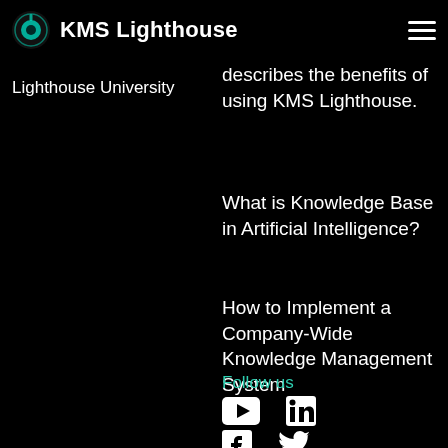KMS Lighthouse
Lighthouse University
describes the benefits of using KMS Lighthouse.
What is Knowledge Base in Artificial Intelligence?
How to Implement a Company-Wide Knowledge Management System
Follow us